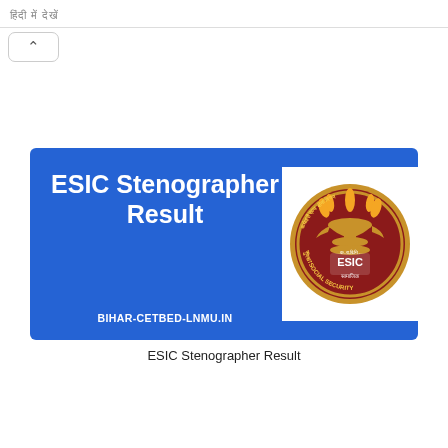हिंदी में देखें
[Figure (infographic): ESIC Stenographer Result banner with blue background, white bold text reading 'ESIC Stenographer Result', BIHAR-CETBED-LNMU.IN URL, and ESIC social security logo on the right]
ESIC Stenographer Result